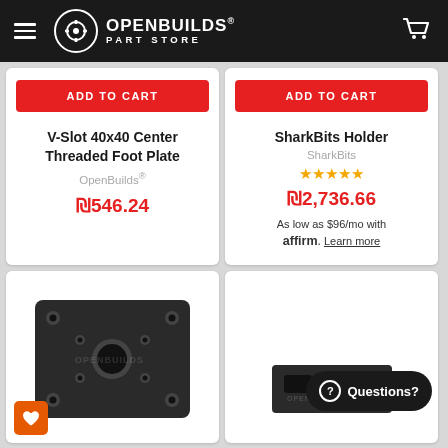OpenBuilds® Part Store
ADD TO CART
V-Slot 40x40 Center Threaded Foot Plate
OpenBuilds®
₪546.24
ADD TO CART
SharkBits Holder
SharkBits
★★★★★
₪2,736.66
As low as $96/mo with affirm. Learn more
[Figure (photo): Black aluminum V-slot foot plate with multiple mounting holes and a center hole]
[Figure (photo): Small black metal part with two mounting slots, partially visible]